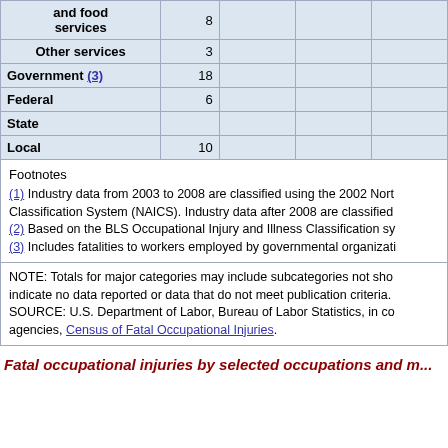| Industry | Total |  |  |  |
| --- | --- | --- | --- | --- |
| and food services | 8 |  |  |  |
| Other services | 3 |  |  |  |
| Government (3) | 18 |  |  |  |
| Federal | 6 |  |  |  |
| State |  |  |  |  |
| Local | 10 |  |  |  |
Footnotes
(1) Industry data from 2003 to 2008 are classified using the 2002 North American Industry Classification System (NAICS). Industry data after 2008 are classified...
(2) Based on the BLS Occupational Injury and Illness Classification sy...
(3) Includes fatalities to workers employed by governmental organizatio...
NOTE: Totals for major categories may include subcategories not sho... indicate no data reported or data that do not meet publication criteria. SOURCE: U.S. Department of Labor, Bureau of Labor Statistics, in co... agencies, Census of Fatal Occupational Injuries.
Fatal occupational injuries by selected occupations and m...